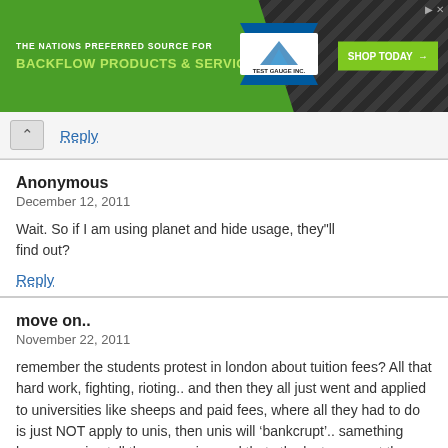[Figure (screenshot): Advertisement banner for Test Gauge Inc. - backflow products and services with green and dark background]
Reply
Anonymous
December 12, 2011

Wait. So if I am using planet and hide usage, they"ll find out?
Reply
move on..
November 22, 2011

remember the students protest in london about tuition fees? All that hard work, fighting, rioting.. and then they all just went and applied to universities like sheeps and paid fees, where all they had to do is just NOT apply to unis, then unis will ‘bankcrupt’.. samething here guys, jus tell them ur going and thats the last payment they are getting, ever.. also ask for the PAC code to transfer your number to another network, that should p*ss them right off :D